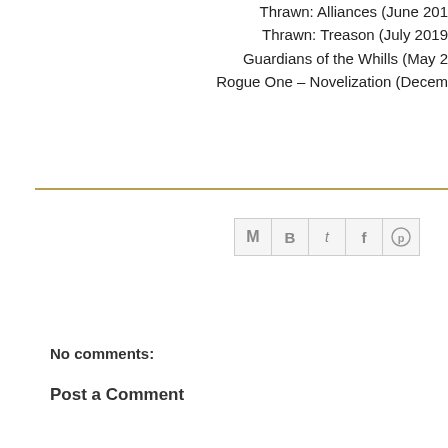Thrawn: Alliances (June 201…
Thrawn: Treason (July 2019…
Guardians of the Whills (May 2…
Rogue One – Novelization (Decem…
[Figure (other): Social share icon strip with Gmail (M), Blogger (B), Twitter (t), Facebook (f), Pinterest (circle-p) icons in grey bordered boxes]
No comments:
Post a Comment
[Figure (other): Default user avatar (grey silhouette) next to an Enter Comment input field]
Home
Subscribe to: Posts (Atom)